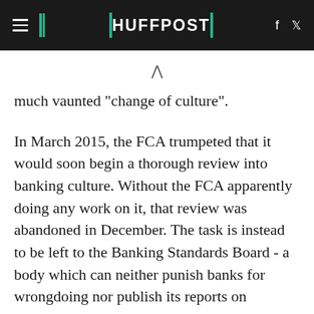HUFFPOST
much vaunted "change of culture".
In March 2015, the FCA trumpeted that it would soon begin a thorough review into banking culture. Without the FCA apparently doing any work on it, that review was abandoned in December. The task is instead to be left to the Banking Standards Board - a body which can neither punish banks for wrongdoing nor publish its reports on individual banks unless they agree.
Correspondingly, the government is abandoning its own legislative change which were due to